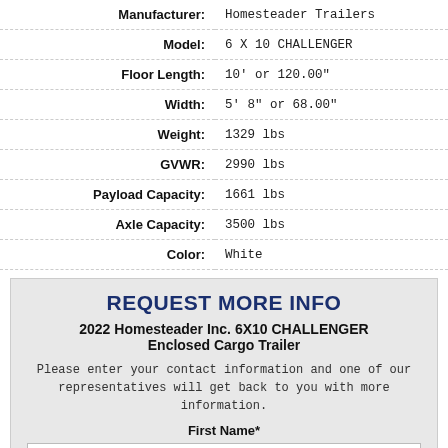| Attribute | Value |
| --- | --- |
| Manufacturer: | Homesteader Trailers |
| Model: | 6 X 10 CHALLENGER |
| Floor Length: | 10' or 120.00" |
| Width: | 5' 8" or 68.00" |
| Weight: | 1329 lbs |
| GVWR: | 2990 lbs |
| Payload Capacity: | 1661 lbs |
| Axle Capacity: | 3500 lbs |
| Color: | White |
REQUEST MORE INFO
2022 Homesteader Inc. 6X10 CHALLENGER Enclosed Cargo Trailer
Please enter your contact information and one of our representatives will get back to you with more information.
First Name*